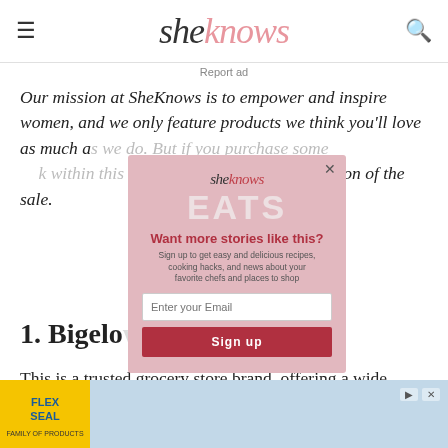sheknows
Report ad
Our mission at SheKnows is to empower and inspire women, and we only feature products we think you'll love as much as we do. But if you purchase something through our links within this story, we may earn a commission of the sale.
1. Bigelo
This is a trusted grocery store brand, offering a wide range of teas at low prices. This green tea is minimally processed and harvested from high-altitude
[Figure (other): SheKnows EATS newsletter signup popup modal with email input field and Sign up button]
[Figure (other): Flex Seal advertisement banner at the bottom of the page]